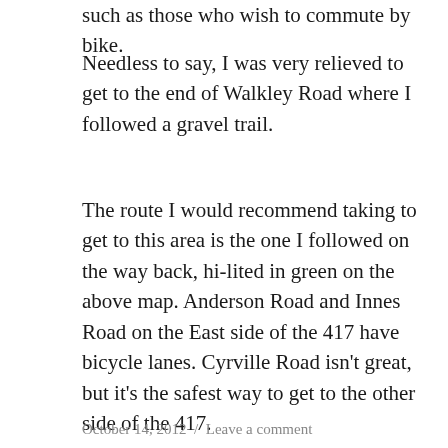such as those who wish to commute by bike.
Needless to say, I was very relieved to get to the end of Walkley Road where I followed a gravel trail.
The route I would recommend taking to get to this area is the one I followed on the way back, hi-lited in green on the above map. Anderson Road and Innes Road on the East side of the 417 have bicycle lanes. Cyrville Road isn’t great, but it’s the safest way to get to the other side of the 417.
October 14, 2012  /  Leave a comment